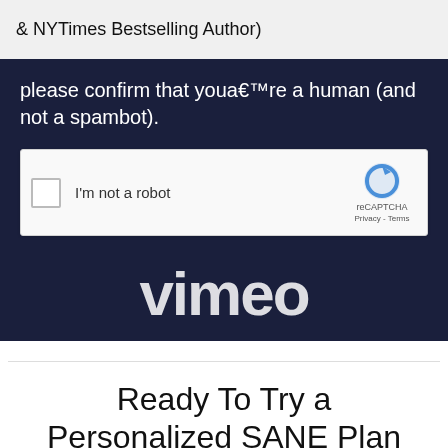& NYTimes Bestselling Author)
please confirm that youa€™re a human (and not a spambot).
[Figure (screenshot): reCAPTCHA widget with checkbox labeled 'I'm not a robot', reCAPTCHA logo, Privacy and Terms links]
[Figure (logo): Vimeo logo text in white on dark navy background]
Ready To Try a Personalized SANE Plan